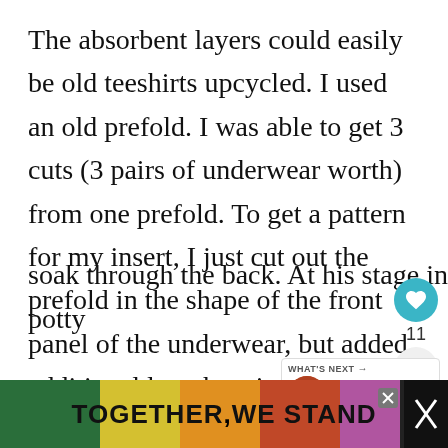The absorbent layers could easily be old teeshirts upcycled. I used an old prefold. I was able to get 3 cuts (3 pairs of underwear worth) from one prefold. To get a pattern for my insert, I just cut out the prefold in the shape of the front panel of the underwear, but added additional length so it went back further. Mine didn't go all the way up the back of the underwear, but if my son sits in the underwear after wetting the uri... soak through the back. At his stage in potty tr...
[Figure (screenshot): UI overlay with heart/like button (teal circle), count of 11, and share button]
[Figure (screenshot): What's Next panel showing Easy Embroide... article thumbnail]
[Figure (screenshot): Advertisement banner at bottom reading TOGETHER, WE STAND with colorful background]